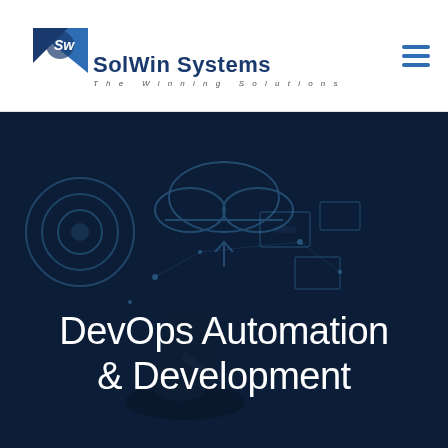[Figure (logo): SolWin Systems logo with blue arrow/kite shape and stylized S-W monogram, company name 'SolWin Systems' in dark blue bold text, tagline 'The Winning Solutions' in grey spaced italic letters]
[Figure (illustration): Dark blue technology hero banner with glowing cloud computing icons, WiFi/IoT symbols, and a person's hand touching a digital screen — dark overlay with subtle blue tech graphics]
DevOps Automation & Development